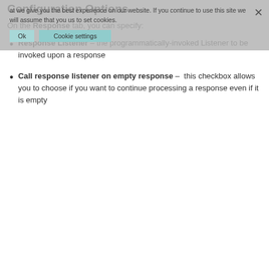Configuration Options
On the Response tab, you can specify:
Response Listener – the programmatically-invoked Listener to be invoked upon a response
Call response listener on empty response – this checkbox allows you to choose if you want to continue processing a response even if it is empty